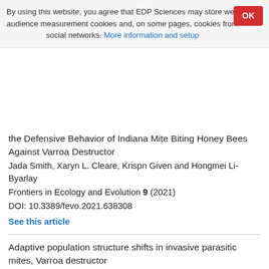By using this website, you agree that EDP Sciences may store web audience measurement cookies and, on some pages, cookies from social networks. More information and setup
the Defensive Behavior of Indiana Mite Biting Honey Bees Against Varroa Destructor
Jada Smith, Xaryn L. Cleare, Krispn Given and Hongmei Li-Byarlay
Frontiers in Ecology and Evolution 9 (2021)
DOI: 10.3389/fevo.2021.638308
See this article
Adaptive population structure shifts in invasive parasitic mites, Varroa destructor
Arrigo Moro, Tjeerd Blacquière, Bjørn Dahle, et al.
Ecology and Evolution 11 (11) 5937 (2021)
DOI: 10.1002/ece3.7272
See this article